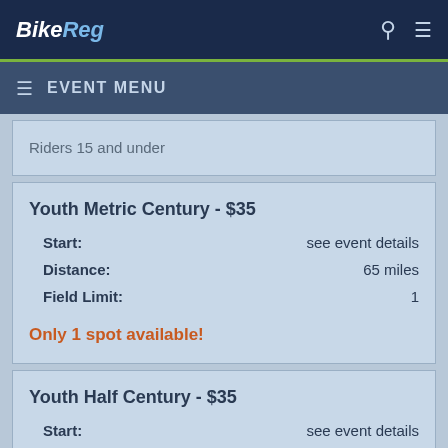BikeReg
EVENT MENU
Riders 15 and under
Youth Metric Century - $35
| Field | Value |
| --- | --- |
| Start: | see event details |
| Distance: | 65 miles |
| Field Limit: | 1 |
Only 1 spot available!
Youth Half Century - $35
| Field | Value |
| --- | --- |
| Start: | see event details |
| Distance: | 50 miles |